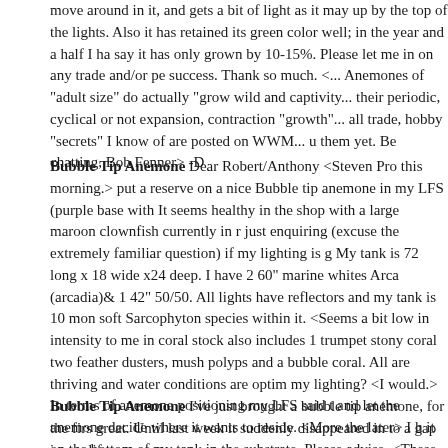move around in it, and gets a bit of light as it may up by the top of the lights. Also it has retained its green color well; in the year and a half I have say it has only grown by 10-15%. Please let me in on any trade and/or personal success. Thank so much. <... Anemones of "adult size" do actually "grow" in wild and captivity... their periodic, cyclical or not expansion, contraction... "growth"... all trade, hobby "secrets" I know of are posted on WWM... u them yet. Be chatting, Bob Fenner> -D
Bubble Tip Anemone Dear Robert/Anthony <Steven Pro this morning.> put a reserve on a nice Bubble tip anemone in my LFS (purple base with It seems healthy in the shop with a large maroon clownfish currently in r just enquiring (excuse the extremely familiar question) if my lighting is g My tank is 72 long x 18 wide x24 deep. I have 2 60" marine whites Arca (arcadia)& 1 42" 50/50. All lights have reflectors and my tank is 10 mon soft Sarcophyton species within it. <Seems a bit low in intensity to me in coral stock also includes 1 trumpet stony coral two feather dusters, mush polyps and a bubble coral. All are thriving and water conditions are optim my lighting? <I would.> In terms of anemone positioning my LFS said t and let the anemone decide where it wants to reside. <More the later> I h it on the bottom of my tank in the substrate. Please advise. <These anem be attached to rock vs. sand. Look for Jim Black's article on Bubble-Tip thanks, Jim <You are welcome. -Steven Pro>
Bubble Tip Anemone I've just brought a bubble tip anemone, for the firs great. Until last week it suddenly disappeared in to a gap in my life roc